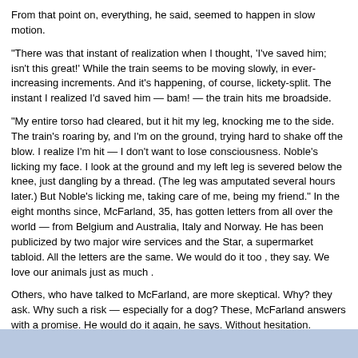From that point on, everything, he said, seemed to happen in slow motion.
"There was that instant of realization when I thought, 'I've saved him; isn't this great!' While the train seems to be moving slowly, in ever-increasing increments. And it's happening, of course, lickety-split. The instant I realized I'd saved him — bam! — the train hits me broadside.
"My entire torso had cleared, but it hit my leg, knocking me to the side. The train's roaring by, and I'm on the ground, trying hard to shake off the blow. I realize I'm hit — I don't want to lose consciousness. Noble's licking my face. I look at the ground and my left leg is severed below the knee, just dangling by a thread. (The leg was amputated several hours later.) But Noble's licking me, taking care of me, being my friend." In the eight months since, McFarland, 35, has gotten letters from all over the world — from Belgium and Australia, Italy and Norway. He has been publicized by two major wire services and the Star, a supermarket tabloid. All the letters are the same. We would do it too , they say. We love our animals just as much .
Others, who have talked to McFarland, are more skeptical. Why? they ask. Why such a risk — especially for a dog? These, McFarland answers with a promise. He would do it again, he says. Without hesitation.
Most who knew Cole also know the story of him saving his golden retriever, Noble. Noble had frozen on the railroad tracks in front of an oncoming train. Cole saved Noble, but lost his own leg in the process. Cole would call it a small price to pay for saving his best friend, an animal who went on to live a long and healthy life by his side.
Return to: Animal Stories